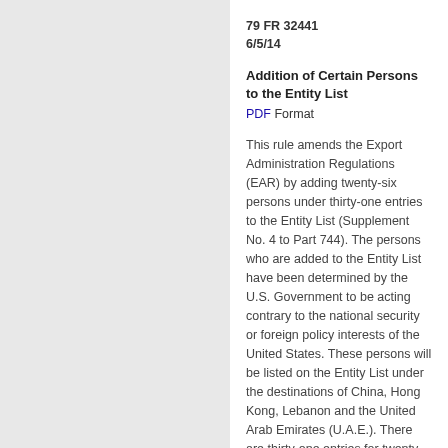79 FR 32441
6/5/14
Addition of Certain Persons to the Entity List
PDF Format
This rule amends the Export Administration Regulations (EAR) by adding twenty-six persons under thirty-one entries to the Entity List (Supplement No. 4 to Part 744). The persons who are added to the Entity List have been determined by the U.S. Government to be acting contrary to the national security or foreign policy interests of the United States. These persons will be listed on the Entity List under the destinations of China, Hong Kong, Lebanon and the United Arab Emirates (U.A.E.). There are thirty-one entries for twenty-six persons because five persons are listed under multiple countries, resulting in the additional five entries. Specifically, those five additional entries cover two persons in Lebanon who also have addresses in the U.A.E., and three persons in Hong Kong who also have addresses in China.